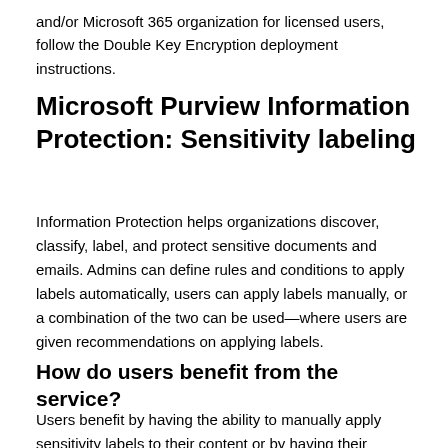and/or Microsoft 365 organization for licensed users, follow the Double Key Encryption deployment instructions.
Microsoft Purview Information Protection: Sensitivity labeling
Information Protection helps organizations discover, classify, label, and protect sensitive documents and emails. Admins can define rules and conditions to apply labels automatically, users can apply labels manually, or a combination of the two can be used—where users are given recommendations on applying labels.
How do users benefit from the service?
Users benefit by having the ability to manually apply sensitivity labels to their content or by having their content